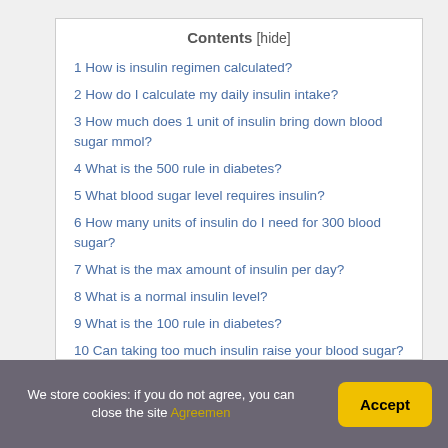Contents [hide]
1 How is insulin regimen calculated?
2 How do I calculate my daily insulin intake?
3 How much does 1 unit of insulin bring down blood sugar mmol?
4 What is the 500 rule in diabetes?
5 What blood sugar level requires insulin?
6 How many units of insulin do I need for 300 blood sugar?
7 What is the max amount of insulin per day?
8 What is a normal insulin level?
9 What is the 100 rule in diabetes?
10 Can taking too much insulin raise your blood sugar?
We store cookies: if you do not agree, you can close the site Agreemen